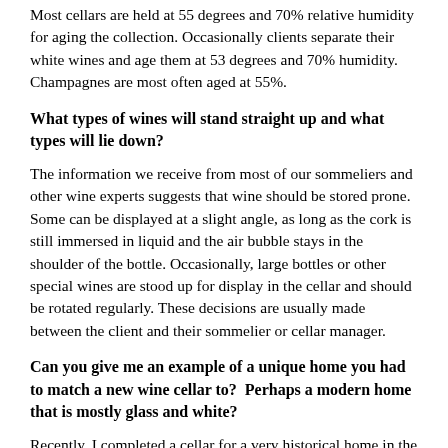Most cellars are held at 55 degrees and 70% relative humidity for aging the collection. Occasionally clients separate their white wines and age them at 53 degrees and 70% humidity. Champagnes are most often aged at 55%.
What types of wines will stand straight up and what types will lie down?
The information we receive from most of our sommeliers and other wine experts suggests that wine should be stored prone. Some can be displayed at a slight angle, as long as the cork is still immersed in liquid and the air bubble stays in the shoulder of the bottle. Occasionally, large bottles or other special wines are stood up for display in the cellar and should be rotated regularly. These decisions are usually made between the client and their sommelier or cellar manager.
Can you give me an example of a unique home you had to match a new wine cellar to?  Perhaps a modern home that is mostly glass and white?
Recently, I completed a cellar for a very historical home in the Pacific Heights neighborhood of San Francisco. This particular mansion with classic architecture on the outside had one floor that was highly contemporary and accommodated the wine cellar. Since the glass-faced wine cellar was adjacent to a gallery of art, I chose to design and fabricate